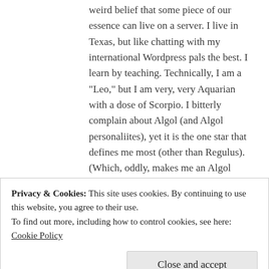weird belief that some piece of our essence can live on a server. I live in Texas, but like chatting with my international Wordpress pals the best. I learn by teaching. Technically, I am a "Leo," but I am very, very Aquarian with a dose of Scorpio. I bitterly complain about Algol (and Algol personaliites), yet it is the one star that defines me most (other than Regulus). (Which, oddly, makes me an Algol personality.) I am a reclusive lover of peace and quiet who has the Ascendant in the Via Combusta (the most conflict ridden part of the zodiac). I am an incredibly private person with a blog with over 800 followers and 50 to 150 regular daily visitors. I could go on, but I
Privacy & Cookies: This site uses cookies. By continuing to use this website, you agree to their use.
To find out more, including how to control cookies, see here: Cookie Policy
Close and accept
addicts, alcohol, alcoholism, closure, cybernetics, Daily